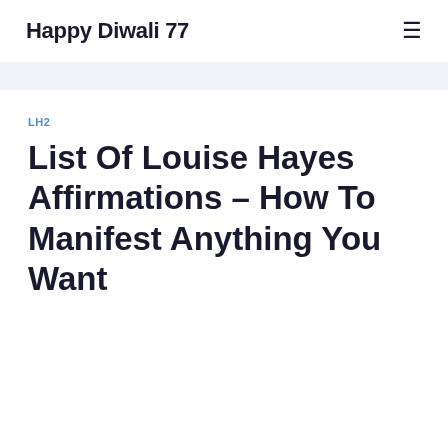Happy Diwali 77
LH2
List Of Louise Hayes Affirmations – How To Manifest Anything You Want